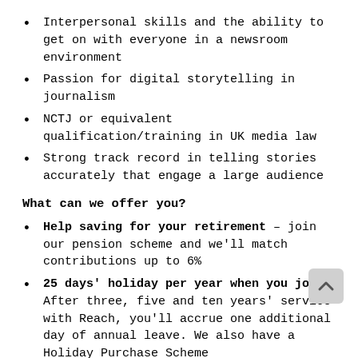Interpersonal skills and the ability to get on with everyone in a newsroom environment
Passion for digital storytelling in journalism
NCTJ or equivalent qualification/training in UK media law
Strong track record in telling stories accurately that engage a large audience
What can we offer you?
Help saving for your retirement – join our pension scheme and we'll match contributions up to 6%
25 days' holiday per year when you join. After three, five and ten years' service with Reach, you'll accrue one additional day of annual leave. We also have a Holiday Purchase Scheme